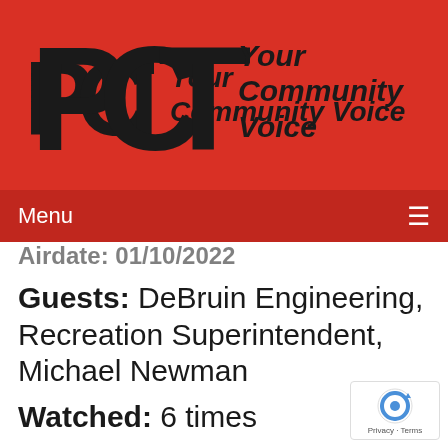[Figure (logo): PCTV logo with 'Your Community Voice' tagline on red background]
Menu ≡
Airdate: 01/10/2022
Guests: DeBruin Engineering, Recreation Superintendent, Michael Newman
Watched: 6 times
[Figure (photo): Partial photo of a person, cropped at bottom of page]